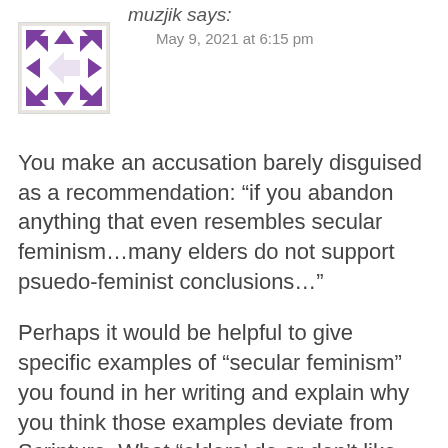muzjik says:
May 9, 2021 at 6:15 pm
[Figure (illustration): Avatar image: square with purple geometric arrow/chevron pattern border on white background]
You make an accusation barely disguised as a recommendation: “if you abandon anything that even resembles secular feminism…many elders do not support psuedo-feminist conclusions…”
Perhaps it would be helpful to give specific examples of “secular feminism” you found in her writing and explain why you think those examples deviate from Scripture. What “elders’ do or don’t like isn’t a compelling argument at this point. Choosing someone…